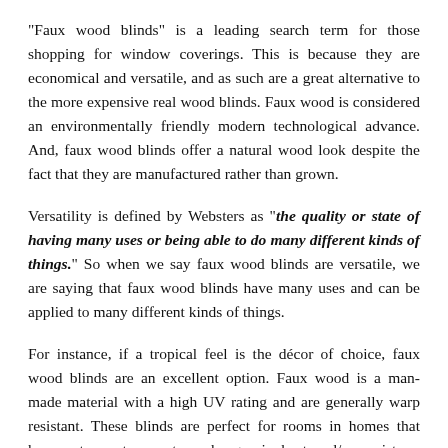"Faux wood blinds" is a leading search term for those shopping for window coverings. This is because they are economical and versatile, and as such are a great alternative to the more expensive real wood blinds. Faux wood is considered an environmentally friendly modern technological advance. And, faux wood blinds offer a natural wood look despite the fact that they are manufactured rather than grown.
Versatility is defined by Websters as "the quality or state of having many uses or being able to do many different kinds of things." So when we say faux wood blinds are versatile, we are saying that faux wood blinds have many uses and can be applied to many different kinds of things.
For instance, if a tropical feel is the décor of choice, faux wood blinds are an excellent option. Faux wood is a man-made material with a high UV rating and are generally warp resistant. These blinds are perfect for rooms in homes that have extreme temperature changes in heat and/or moisture, such as bathrooms and kitchens. Color